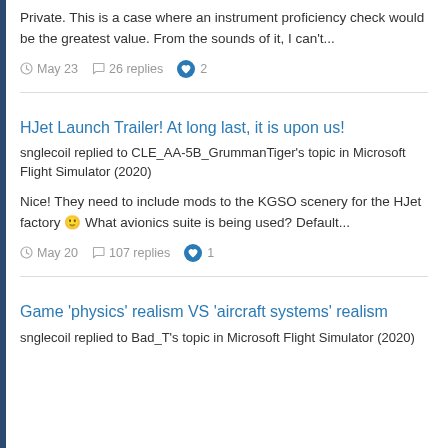Private. This is a case where an instrument proficiency check would be the greatest value. From the sounds of it, I can't...
May 23   26 replies   2
HJet Launch Trailer! At long last, it is upon us!
snglecoil replied to CLE_AA-5B_GrummanTiger's topic in Microsoft Flight Simulator (2020)
Nice! They need to include mods to the KGSO scenery for the HJet factory 🙂 What avionics suite is being used? Default...
May 20   107 replies   1
Game 'physics' realism VS 'aircraft systems' realism
snglecoil replied to Bad_T's topic in Microsoft Flight Simulator (2020)